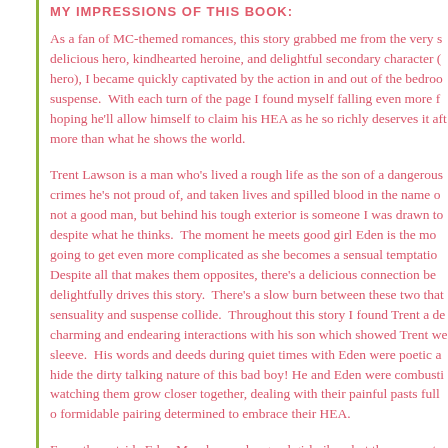MY IMPRESSIONS OF THIS BOOK:
As a fan of MC-themed romances, this story grabbed me from the very s delicious hero, kindhearted heroine, and delightful secondary character ( hero), I became quickly captivated by the action in and out of the bedroo suspense.  With each turn of the page I found myself falling even more f hoping he'll allow himself to claim his HEA as he so richly deserves it aft more than what he shows the world.
Trent Lawson is a man who's lived a rough life as the son of a dangerous crimes he's not proud of, and taken lives and spilled blood in the name o not a good man, but behind his tough exterior is someone I was drawn to despite what he thinks.  The moment he meets good girl Eden is the mo going to get even more complicated as she becomes a sensual temptatio Despite all that makes them opposites, there's a delicious connection be delightfully drives this story.  There's a slow burn between these two that sensuality and suspense collide.  Throughout this story I found Trent a de charming and endearing interactions with his son which showed Trent we sleeve.  His words and deeds during quiet times with Eden were poetic a hide the dirty talking nature of this bad boy! He and Eden were combusti watching them grow closer together, dealing with their painful pasts full o formidable pairing determined to embrace their HEA.
From the outside Eden Murphy exudes good girl vibes, but the moment s moment she longs to be a bit bad.  Applying for a job to help her father b